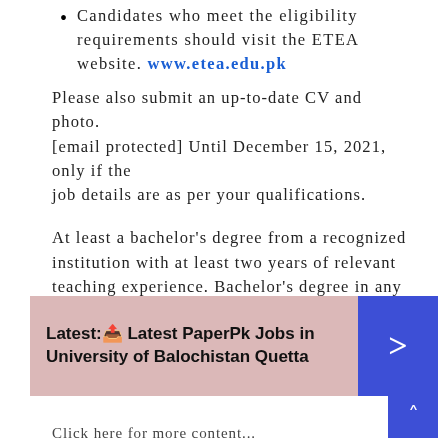Candidates who meet the eligibility requirements should visit the ETEA website. www.etea.edu.pk
Please also submit an up-to-date CV and photo. [email protected] Until December 15, 2021, only if the job details are as per your qualifications.
At least a bachelor's degree from a recognized institution with at least two years of relevant teaching experience. Bachelor's degree in any subject with at least BPS-12 secondary with one year of relevant teaching experience or at least one year of relevant teaching experience.
[Figure (infographic): Promotional banner with pink background showing text 'Latest: Latest PaperPk Jobs in University of Balochistan Quetta' with a blue arrow button on the right.]